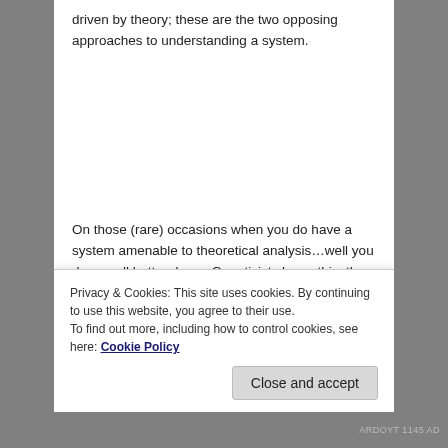driven by theory; these are the two opposing approaches to understanding a system.
On those (rare) occasions when you do have a system amenable to theoretical analysis…well you dang well better do so. Geneticists know this: they don't ignore binomial/multinomial models, in favor of curve fitting, to estimate likely nuclear transmission genetic processes in diploid population genetics and inheritance. That would be entirely stupid, given that we know for sure that diploid
Privacy & Cookies: This site uses cookies. By continuing to use this website, you agree to their use.
To find out more, including how to control cookies, see here: Cookie Policy
Close and accept